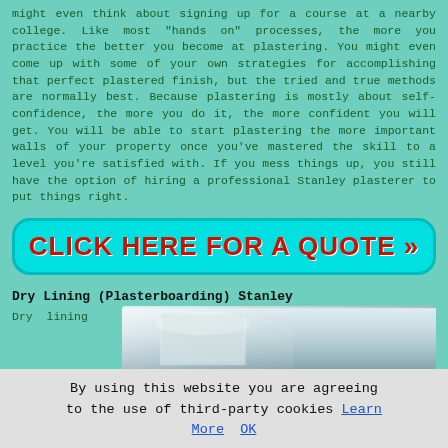might even think about signing up for a course at a nearby college. Like most "hands on" processes, the more you practice the better you become at plastering. You might even come up with some of your own strategies for accomplishing that perfect plastered finish, but the tried and true methods are normally best. Because plastering is mostly about self-confidence, the more you do it, the more confident you will get. You will be able to start plastering the more important walls of your property once you've mastered the skill to a level you're satisfied with. If you mess things up, you still have the option of hiring a professional Stanley plasterer to put things right.
[Figure (other): Cyan button with red bold text: CLICK HERE FOR A QUOTE >>]
Dry Lining (Plasterboarding) Stanley
Dry  lining
[Figure (photo): Photo of a plastered/dry-lined room interior with light and blue-grey tones]
By using this website you are agreeing to the use of third-party cookies Learn More  OK